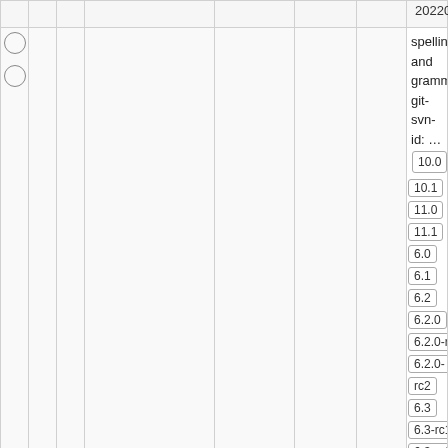|  |  |  | Commit |  | Age | Author | Description / Tags |
| --- | --- | --- | --- | --- | --- | --- | --- |
|  |  |  |  |  |  |  | 20220226 |
| ○ ○ | □ |  | @a4be499 ⚙ |  | 19 years | larry | spelling and grammer git-svn-id: … 10.0 10.1 11.0 11.1 6.0 6.1 6.2 6.2.0 6.2.0-rc1 6.2.0-rc2 6.3 6.3-rc1 6.3-rc2 6.3-rc3 7.10 7.4 7.5 7.6 7.6-blfs 7.6-systemd 7.7 7.8 7.9 8.0 8.1 8.2 8.3 8.4 9.0 9.1 basic bdubbs/svn elogind gnome kde5-13430 kde5-14269 kde5-14686 krejzi/svn lazarus nosym perl-modules qt5new systemd 11177 systemd-13485 trunk upgradedb v5_0 v5_0-pre1 v5_1 |